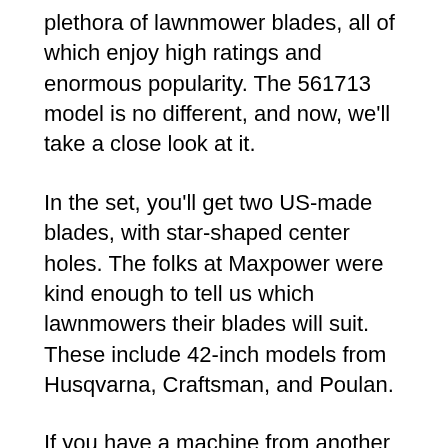plethora of lawnmower blades, all of which enjoy high ratings and enormous popularity. The 561713 model is no different, and now, we'll take a close look at it.
In the set, you'll get two US-made blades, with star-shaped center holes. The folks at Maxpower were kind enough to tell us which lawnmowers their blades will suit. These include 42-inch models from Husqvarna, Craftsman, and Poulan.
If you have a machine from another brand, just make sure that it can fit a blade that's 21-inch long and 2,25 inches wide. Basically, the 561713 mulching blades are pretty average regarding their design and shape, which